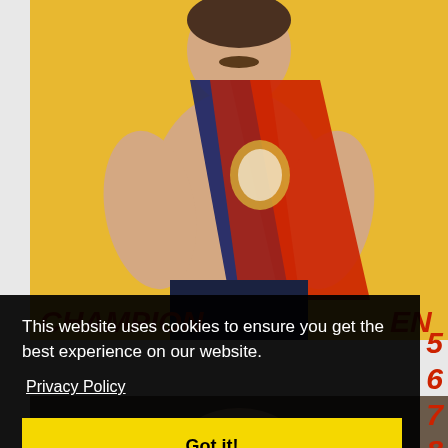[Figure (illustration): Vintage poster of a muscular shirtless strongman wearing a red and blue sash/banner with coat of arms, text 'CHAMPION' in red italic on lower left, 'EN' in red italic on lower right, against a yellow background]
This website uses cookies to ensure you get the best experience on our website.
Privacy Policy
Got it!
[Figure (photo): Partial view of a second image at the bottom of the page showing a face/portrait]